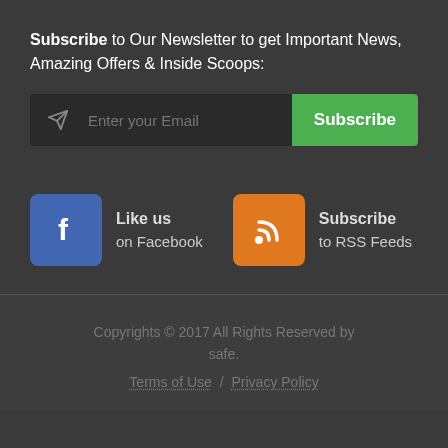Subscribe to Our Newsletter to get Important News, Amazing Offers & Inside Scoops:
[Figure (infographic): Email subscription form with dark background, paper plane icon, 'Enter your Email' placeholder text, and a green Subscribe button]
[Figure (infographic): Social media icons: Facebook icon (blue square with 'f') with text 'Like us on Facebook', and RSS icon (orange square with RSS symbol) with text 'Subscribe to RSS Feeds']
Copyrights © 2017 All Rights Reserved by safe. Terms of Use / Privacy Policy